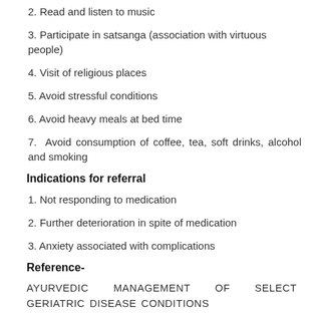2. Read and listen to music
3. Participate in satsanga (association with virtuous people)
4. Visit of religious places
5. Avoid stressful conditions
6. Avoid heavy meals at bed time
7. Avoid consumption of coffee, tea, soft drinks, alcohol and smoking
Indications for referral
1. Not responding to medication
2. Further deterioration in spite of medication
3. Anxiety associated with complications
Reference-
AYURVEDIC MANAGEMENT OF SELECT GERIATRIC DISEASE CONDITIONS